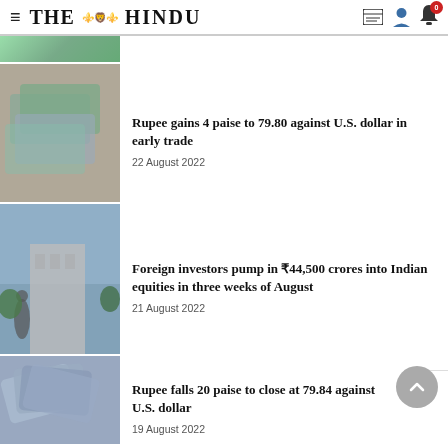THE HINDU
[Figure (photo): Partial news article image strip at top]
[Figure (photo): Person holding Indian rupee currency notes]
Rupee gains 4 paise to 79.80 against U.S. dollar in early trade
22 August  2022
[Figure (photo): Bombay Stock Exchange (BSE) building facade with statue]
Foreign investors pump in ₹44,500 crores into Indian equities in three weeks of August
21 August  2022
[Figure (photo): Fan of Indian rupee currency notes]
Rupee falls 20 paise to close at 79.84 against U.S. dollar
19 August  2022